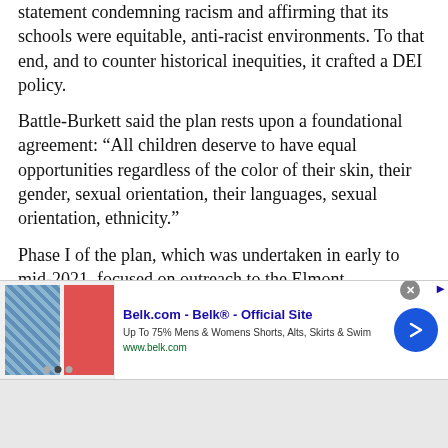statement condemning racism and affirming that its schools were equitable, anti-racist environments. To that end, and to counter historical inequities, it crafted a DEI policy.
Battle-Burkett said the plan rests upon a foundational agreement: “All children deserve to have equal opportunities regardless of the color of their skin, their gender, sexual orientation, their languages, sexual orientation, ethnicity.”
Phase I of the plan, which was undertaken in early to mid-2021, focused on outreach to the Elmont community and district staff to discuss policies that might require change. Phase II, which took place at
[Figure (other): Advertisement banner for Belk.com showing two female models wearing shorts/skirts, with text 'Belk.com - Belk® - Official Site', 'Up To 75% Mens & Womens Shorts, Alts, Skirts & Swim', 'www.belk.com', and a blue circular arrow button. Close button and external link icon visible.]